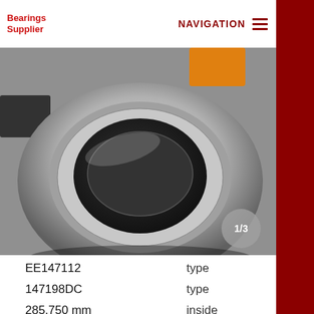Bearings Supplier | NAVIGATION
[Figure (photo): Close-up photo of a large industrial ball bearing (wheel hub bearing), metallic silver, with a yellow element visible in background. Image carousel indicator shows 1/3.]
| Value | Property |
| --- | --- |
| EE147112 | type |
| 147198DC | type |
| 285.750 mm | inside |
| 501.650 mm | Outer |
| 120.650 mm | Height |
| 145.20 kg | weight |
| 2330000 N | Dynamic load |
| 346000 N | Basic dynamic load rating |